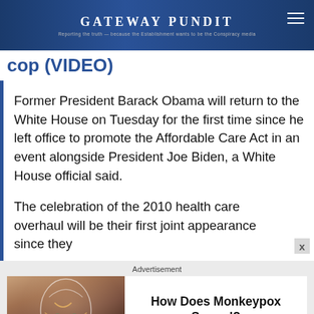GATEWAY PUNDIT
cop (VIDEO)
Former President Barack Obama will return to the White House on Tuesday for the first time since he left office to promote the Affordable Care Act in an event alongside President Joe Biden, a White House official said.
The celebration of the 2010 health care overhaul will be their first joint appearance since they
Advertisement
[Figure (photo): Close-up portrait of a face with white paint or liquid art]
How Does Monkeypox Spread?
Brainberries